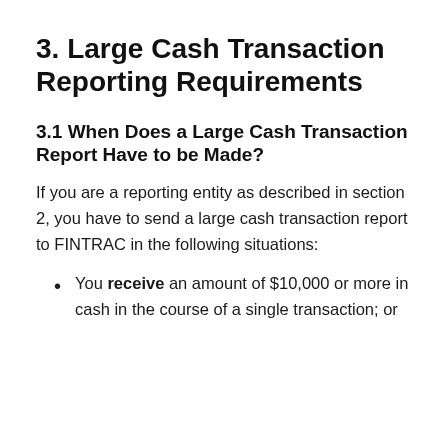3. Large Cash Transaction Reporting Requirements
3.1 When Does a Large Cash Transaction Report Have to be Made?
If you are a reporting entity as described in section 2, you have to send a large cash transaction report to FINTRAC in the following situations:
You receive an amount of $10,000 or more in cash in the course of a single transaction; or